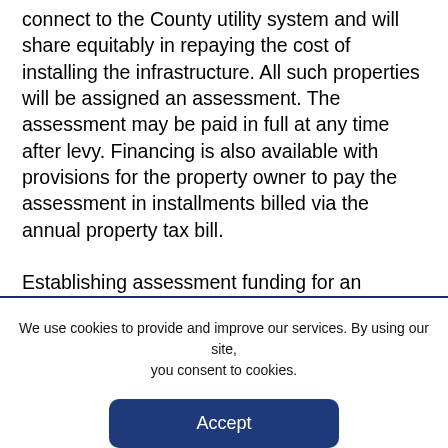connect to the County utility system and will share equitably in repaying the cost of installing the infrastructure. All such properties will be assigned an assessment. The assessment may be paid in full at any time after levy. Financing is also available with provisions for the property owner to pay the assessment in installments billed via the annual property tax bill.

Establishing assessment funding for an authorized municipal service is a 5-Step process: (1) Apply, (2)
We use cookies to provide and improve our services. By using our site, you consent to cookies.
Accept
Learn more